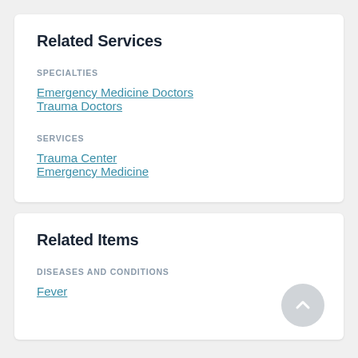Related Services
SPECIALTIES
Emergency Medicine Doctors
Trauma Doctors
SERVICES
Trauma Center
Emergency Medicine
Related Items
DISEASES AND CONDITIONS
Fever